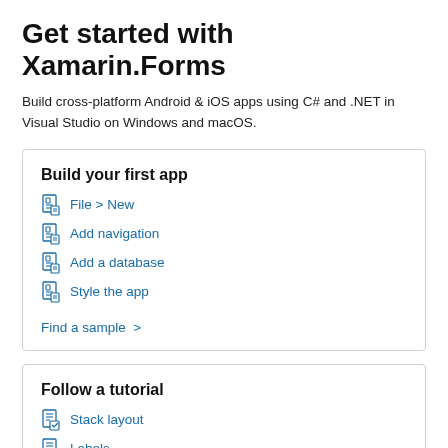Get started with Xamarin.Forms
Build cross-platform Android & iOS apps using C# and .NET in Visual Studio on Windows and macOS.
Build your first app
File > New
Add navigation
Add a database
Style the app
Find a sample >
Follow a tutorial
Stack layout
Labels